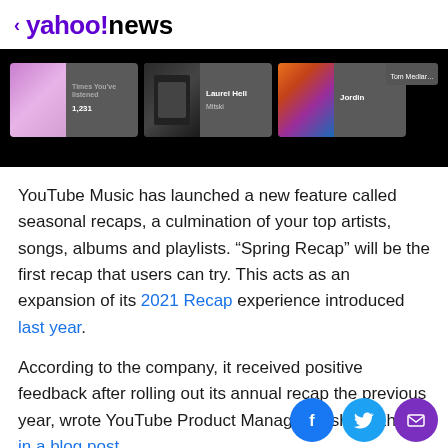< yahoo!news
[Figure (screenshot): YouTube Music app screenshot showing music cards with album art thumbnails — a pink album (1,231), Laurel Hell, and Jordin on dark background]
YouTube Music has launched a new feature called seasonal recaps, a culmination of your top artists, songs, albums and playlists. “Spring Recap” will be the first recap that users can try. This acts as an expansion of its 2021 Recap experience introduced last year.
According to the company, it received positive feedback after rolling out its annual recap the previous year, wrote YouTube Product Manager Ayshaw Khan in a blog post. The recap, inspired by Spotify Wrapped, had offered